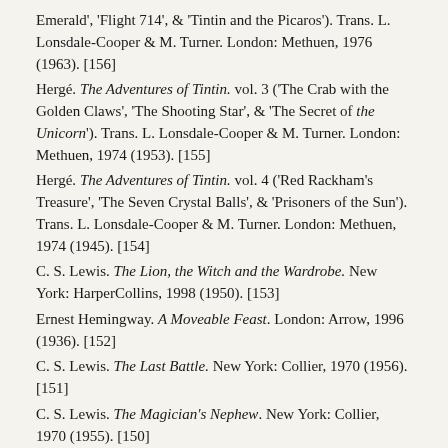Emerald', 'Flight 714', & 'Tintin and the Picaros'). Trans. L. Lonsdale-Cooper & M. Turner. London: Methuen, 1976 (1963). [156]
Hergé. The Adventures of Tintin. vol. 3 ('The Crab with the Golden Claws', 'The Shooting Star', & 'The Secret of the Unicorn'). Trans. L. Lonsdale-Cooper & M. Turner. London: Methuen, 1974 (1953). [155]
Hergé. The Adventures of Tintin. vol. 4 ('Red Rackham's Treasure', 'The Seven Crystal Balls', & 'Prisoners of the Sun'). Trans. L. Lonsdale-Cooper & M. Turner. London: Methuen, 1974 (1945). [154]
C. S. Lewis. The Lion, the Witch and the Wardrobe. New York: HarperCollins, 1998 (1950). [153]
Ernest Hemingway. A Moveable Feast. London: Arrow, 1996 (1936). [152]
C. S. Lewis. The Last Battle. New York: Collier, 1970 (1956). [151]
C. S. Lewis. The Magician's Nephew. New York: Collier, 1970 (1955). [150]
Magnus Magnusson and Hermann Pálsson. The Vinland